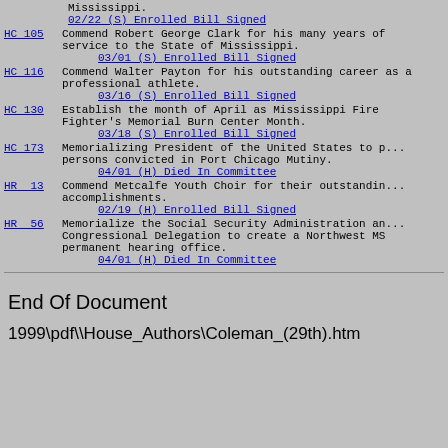Mississippi.
    02/22 (S) Enrolled Bill Signed
HC 105  Commend Robert George Clark for his many years of service to the State of Mississippi.
    03/01 (S) Enrolled Bill Signed
HC 116  Commend Walter Payton for his outstanding career as a professional athlete.
    03/16 (S) Enrolled Bill Signed
HC 130  Establish the month of April as Mississippi Fire Fighter's Memorial Burn Center Month.
    03/18 (S) Enrolled Bill Signed
HC 173  Memorializing President of the United States to pardon persons convicted in Port Chicago Mutiny.
    04/01 (H) Died In Committee
HR  13  Commend Metcalfe Youth Choir for their outstanding accomplishments.
    02/19 (H) Enrolled Bill Signed
HR  56  Memorialize the Social Security Administration and Congressional Delegation to create a Northwest MS permanent hearing office.
    04/01 (H) Died In Committee
End Of Document
1999\pdf\\House_Authors\Coleman_(29th).htm